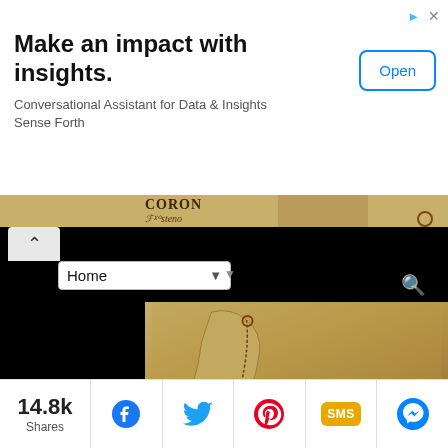[Figure (screenshot): Advertisement banner: 'Make an impact with insights. Conversational Assistant for Data & Insights Sense Forth' with an 'Open' button.]
[Figure (screenshot): Website navigation bar with Home dropdown and search icon, overlaid on a stylized old-map image of Palawan, Philippines showing Coron and Puerto Princesa locations.]
[Figure (map): Stylized vintage map of Palawan, Philippines with text labels 'CORON', 'PALAWAN', and location markers.]
I have been to Coron twice, El Nido once, and Puerto Princesa thrice. So
[Figure (infographic): Social share bar showing 14.8k Shares with Facebook, Twitter, Pinterest, SMS, and Messenger share buttons.]